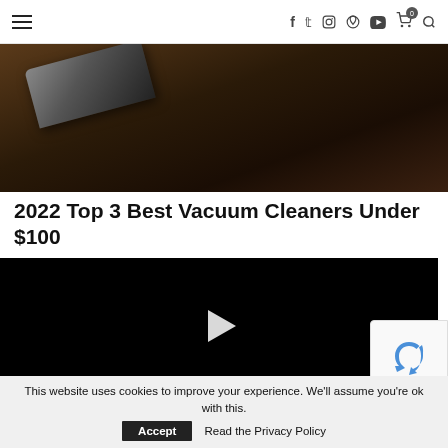≡  f  y  ☉  ⊕  ▶  🛒⁰  🔍
[Figure (photo): Dark dramatic photo of a vacuum cleaner nozzle on a dark wooden floor, mostly shadowed]
2022 Top 3 Best Vacuum Cleaners Under $100
written by lupilon  |  January 3, 2021  |  243 views
[Figure (screenshot): Black video player with a white play button triangle in the center]
This website uses cookies to improve your experience. We'll assume you're ok with this.  Accept  Read the Privacy Policy